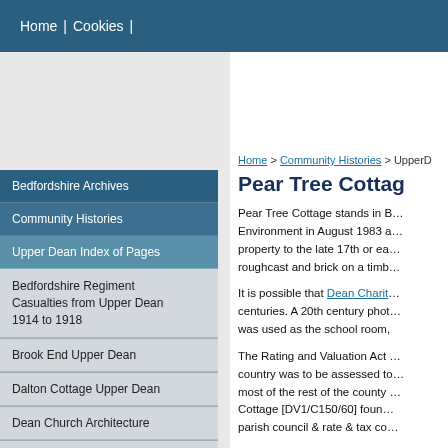Home | Cookies |
Bedfordshire Archives
Community Histories
Upper Dean Index of Pages
Bedfordshire Regiment Casualties from Upper Dean 1914 to 1918
Brook End Upper Dean
Dalton Cottage Upper Dean
Dean Church Architecture
Dean Church Repairs and
Home > Community Histories > UpperD...
Pear Tree Cottag…
Pear Tree Cottage stands in B… Environment in August 1983 a… property to the late 17th or ea… roughcast and brick on a timb…
It is possible that Dean Charit… centuries. A 20th century phot… was used as the school room,
The Rating and Valuation Act … country was to be assessed to… most of the rest of the county … Cottage [DV1/C150/60] foun… parish council & rate & tax co…